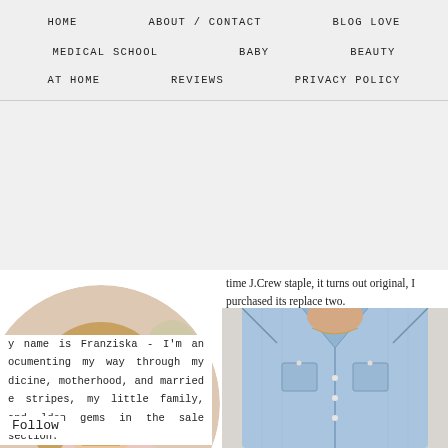HOME    ABOUT / CONTACT    BLOG LOVE
MEDICAL SCHOOL    BABY    BEAUTY
AT HOME    REVIEWS    PRIVACY POLICY
[Figure (photo): Circular profile photo of a blonde woman smiling, wearing a pink top with a layered necklace]
time J.Crew staple, it turns out original, I purchased its replace two.
[Figure (photo): Close-up photo of a person wearing a light blue chambray/denim button-up shirt with a delicate gold necklace]
y name is Franziska - I'm an ocumenting my way through my dicine, motherhood, and married e stripes, my little family, and lden gems in the sale section.
Follow